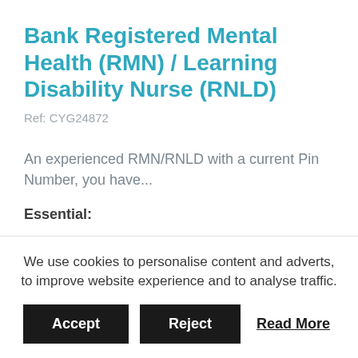Bank Registered Mental Health (RMN) / Learning Disability Nurse (RNLD)
Ref: CYG24872
An experienced RMN/RNLD with a current Pin Number, you have...
Essential:
The ability to maintain documentation, undertake audits & demonstrate integrity in your role
We use cookies to personalise content and adverts, to improve website experience and to analyse traffic.